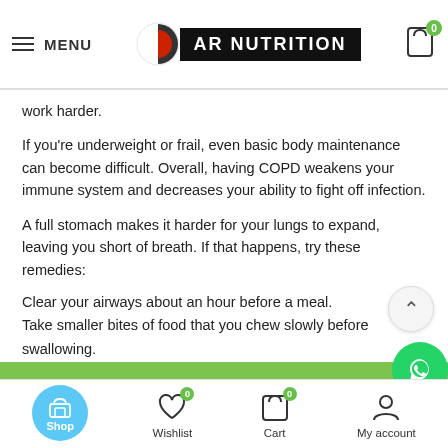MENU | AR NUTRITION | Cart 0
work harder.
If you're underweight or frail, even basic body maintenance can become difficult. Overall, having COPD weakens your immune system and decreases your ability to fight off infection.
A full stomach makes it harder for your lungs to expand, leaving you short of breath. If that happens, try these remedies:
Clear your airways about an hour before a meal.
Take smaller bites of food that you chew slowly before swallowing.
Swap three meals a day for five or six smaller meals.
Save fluids until the end so you feel less full during the meal.
Living with COPD
COPD requires lifelong disease management. That means foll...
Shop | Wishlist 0 | Cart 0 | My account